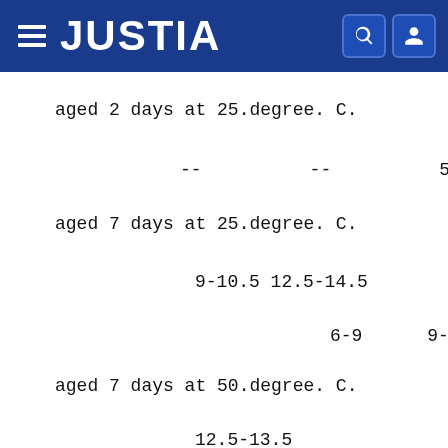JUSTIA
aged 2 days at 25.degree. C.
--          --          5.5-6  --
aged 7 days at 25.degree. C.
9-10.5  12.5-14.5
6-9        9-
aged 7 days at 50.degree. C.
12.5-13.5
13-17      7.5-10  15.